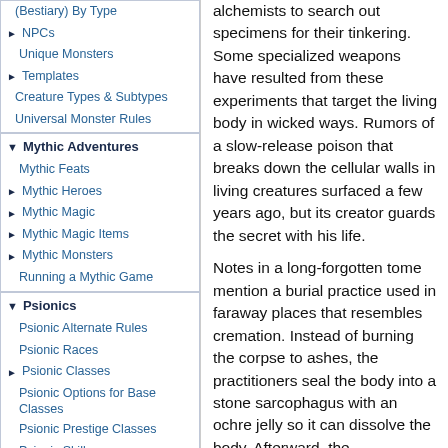(Bestiary) By Type
NPCs
Unique Monsters
Templates
Creature Types & Subtypes
Universal Monster Rules
Mythic Adventures
Mythic Feats
Mythic Heroes
Mythic Magic
Mythic Magic Items
Mythic Monsters
Running a Mythic Game
Psionics
Psionic Alternate Rules
Psionic Races
Psionic Classes
Psionic Options for Base Classes
Psionic Prestige Classes
Psionic Skills
Psionic Feats
Psionic Equipment
alchemists to search out specimens for their tinkering. Some specialized weapons have resulted from these experiments that target the living body in wicked ways. Rumors of a slow-release poison that breaks down the cellular walls in living creatures surfaced a few years ago, but its creator guards the secret with his life.
Notes in a long-forgotten tome mention a burial practice used in faraway places that resembles cremation. Instead of burning the corpse to ashes, the practitioners seal the body into a stone sarcophagus with an ochre jelly so it can dissolve the body. Afterward, the